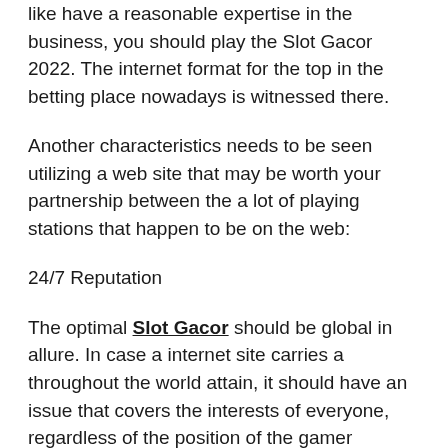like have a reasonable expertise in the business, you should play the Slot Gacor 2022. The internet format for the top in the betting place nowadays is witnessed there.
Another characteristics needs to be seen utilizing a web site that may be worth your partnership between the a lot of playing stations that happen to be on the web:
24/7 Reputation
The optimal Slot Gacor should be global in allure. In case a internet site carries a throughout the world attain, it should have an issue that covers the interests of everyone, regardless of the position of the gamer